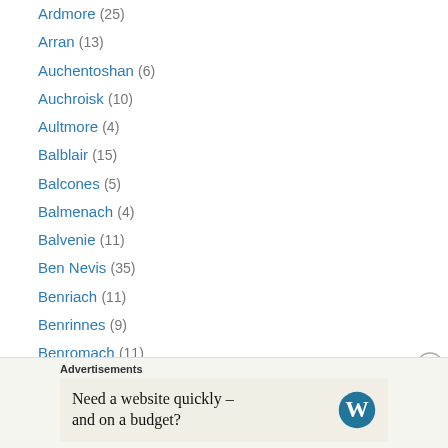Ardmore (25)
Arran (13)
Auchentoshan (6)
Auchroisk (10)
Aultmore (4)
Balblair (15)
Balcones (5)
Balmenach (4)
Balvenie (11)
Ben Nevis (35)
Benriach (11)
Benrinnes (9)
Benromach (11)
Bladnoch (8)
Blair Athol (10)
Blended/Vatted (45)
Advertisements
Need a website quickly – and on a budget?